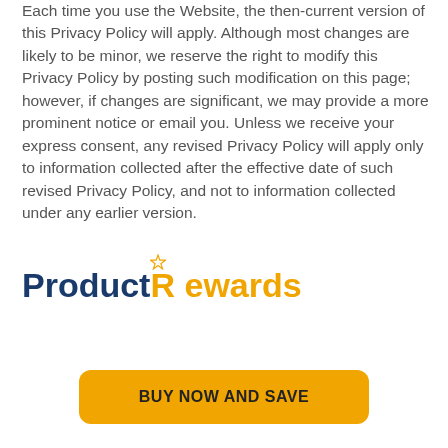Each time you use the Website, the then-current version of this Privacy Policy will apply. Although most changes are likely to be minor, we reserve the right to modify this Privacy Policy by posting such modification on this page; however, if changes are significant, we may provide a more prominent notice or email you. Unless we receive your express consent, any revised Privacy Policy will apply only to information collected after the effective date of such revised Privacy Policy, and not to information collected under any earlier version.
[Figure (logo): ProductRewards logo with a star above the R, 'Product' in dark navy blue bold text and 'Rewards' in golden/amber bold text]
BUY NOW AND SAVE